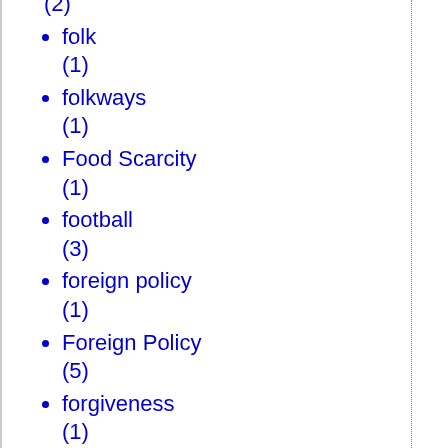(2)
folk (1)
folkways (1)
Food Scarcity (1)
football (3)
foreign policy (1)
Foreign Policy (5)
forgiveness (1)
Foucault (1)
Founders (2)
founding (1)
Fox News